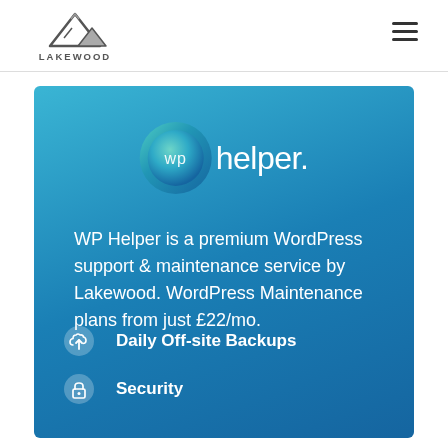[Figure (logo): Lakewood mountain logo with text LAKEWOOD below a mountain peak icon]
[Figure (other): Hamburger menu icon (three horizontal lines) in top right corner]
[Figure (logo): WP Helper logo: circular teal/blue badge with 'wp' text next to 'helper.' wordmark in white on blue gradient background]
WP Helper is a premium WordPress support & maintenance service by Lakewood. WordPress Maintenance plans from just £22/mo.
Daily Off-site Backups
Security